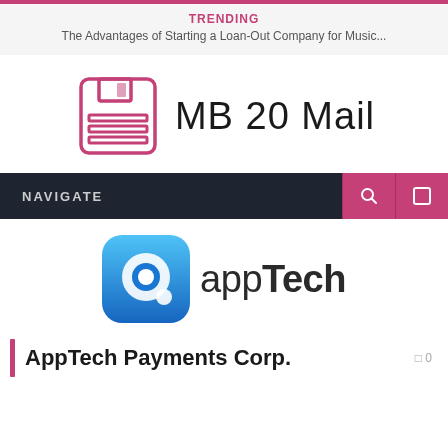TRENDING
The Advantages of Starting a Loan-Out Company for Music...
[Figure (logo): MB 20 Mail logo: floppy disk icon in pink/crimson outline next to bold text 'MB 20 Mail']
NAVIGATE
[Figure (logo): AppTech logo: blue rounded square icon with white 'a' chat bubble and text 'appTech' in dark gray]
AppTech Payments Corp.